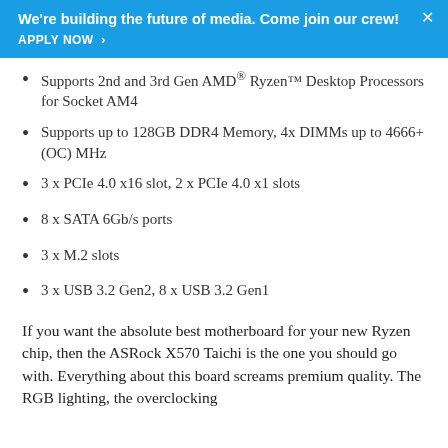We're building the future of media. Come join our crew! APPLY NOW >
Supports 2nd and 3rd Gen AMD® Ryzen™ Desktop Processors for Socket AM4
Supports up to 128GB DDR4 Memory, 4x DIMMs up to 4666+(OC) MHz
3 x PCIe 4.0 x16 slot, 2 x PCIe 4.0 x1 slots
8 x SATA 6Gb/s ports
3 x M.2 slots
3 x USB 3.2 Gen2, 8 x USB 3.2 Gen1
If you want the absolute best motherboard for your new Ryzen chip, then the ASRock X570 Taichi is the one you should go with. Everything about this board screams premium quality. The RGB lighting, the overclocking